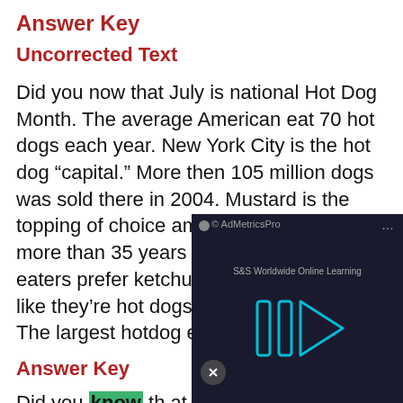Answer Key
Uncorrected Text
Did you now that July is national Hot Dog Month. The average American eat 70 hot dogs each year. New York City is the hot dog “capital.” More then 105 million dogs was sold there in 2004. Mustard is the topping of choice among people who are more than 35 years old, but most younger eaters prefer ketchup. Some people even like they’re hot dogs served in ice cream! The largest hotdog ever made was 1,996
Answer Key
Did you know that July is national Hot Dog Month? The 70 hot dogs each...
[Figure (screenshot): An embedded video ad overlay from AdMetricsPro showing S&S Worldwide Online Learning with a play button graphic on a dark background, with a mute button in the lower left corner.]